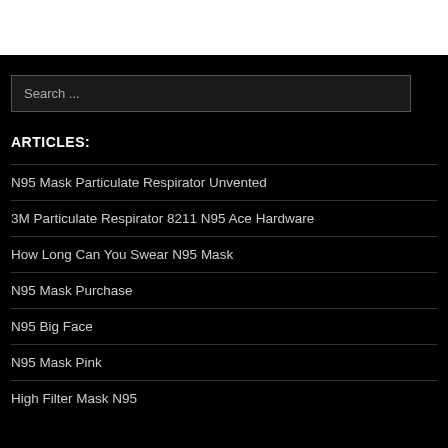ARTICLES:
N95 Mask Particulate Respirator Unvented
3M Particulate Respirator 8211 N95 Ace Hardware
How Long Can You Swear N95 Mask
N95 Mask Purchase
N95 Big Face
N95 Mask Pink
High Filter Mask N95